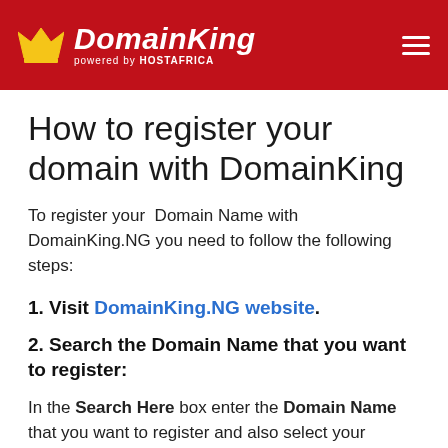DomainKing powered by HOSTAFRICA
How to register your domain with DomainKing
To register your Domain Name with DomainKing.NG you need to follow the following steps:
1. Visit DomainKing.NG website.
2. Search the Domain Name that you want to register:
In the Search Here box enter the Domain Name that you want to register and also select your preferred Domain Extension or tld (like .com, .net, .com.ng etc.) and then click on